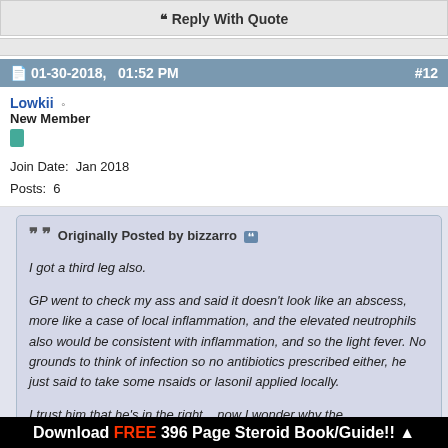Reply With Quote
01-30-2018, 01:52 PM  #12
Lowkii
New Member
Join Date: Jan 2018
Posts: 6
Originally Posted by bizzarro
I got a third leg also.

GP went to check my ass and said it doesn't look like an abscess, more like a case of local inflammation, and the elevated neutrophils also would be consistent with inflammation, and so the light fever. No grounds to think of infection so no antibiotics prescribed either, he just said to take some nsaids or lasonil applied locally.

I trust him that he's in the right... now I wonder why the
Download FREE 396 Page Steroid Book/Guide!! ▲